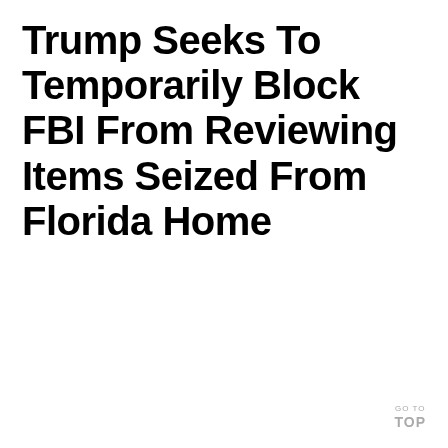Trump Seeks To Temporarily Block FBI From Reviewing Items Seized From Florida Home
GO TO TOP